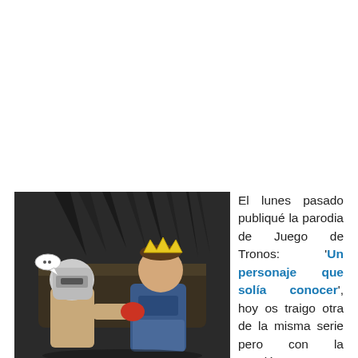[Figure (photo): Two people sitting on a Game of Thrones-style iron throne. One person wears a knight helmet, the other wears a crown. There is a small speech bubble near the helmeted person.]
El lunes pasado publiqué la parodia de Juego de Tronos: 'Un personaje que solía conocer', hoy os traigo otra de la misma serie pero con la canción Payphone, de Maroon 5. En el vídeo vemos como 'Adam Levine' deja el grupo porque no puede dejar de ver Juego de tronos, buenísima parodia. (Los subtitulos los podéis activar en el vídeo, a la derecha del reloj)